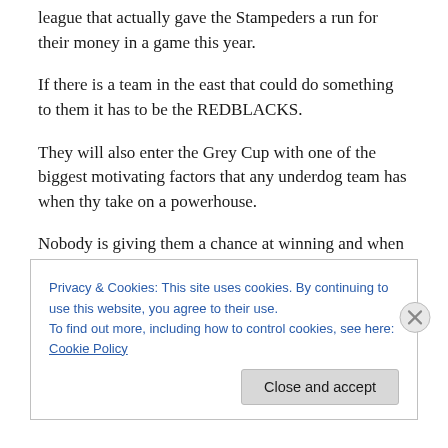league that actually gave the Stampeders a run for their money in a game this year.
If there is a team in the east that could do something to them it has to be the REDBLACKS.
They will also enter the Grey Cup with one of the biggest motivating factors that any underdog team has when thy take on a powerhouse.
Nobody is giving them a chance at winning and when used right that can motivate a group of proud football
Privacy & Cookies: This site uses cookies. By continuing to use this website, you agree to their use.
To find out more, including how to control cookies, see here: Cookie Policy
Close and accept